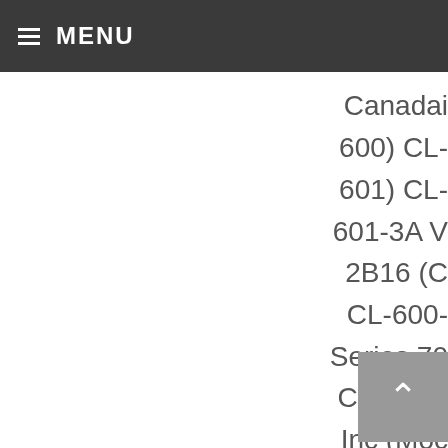MENU
Canadai
600) CL-
601) CL-
601-3A V
2B16 (C
CL-600-
Series 70
Cessna I
Inc (Moc
114TC) C
Aeronau
CN-235
235-200
Aviation
FALCO